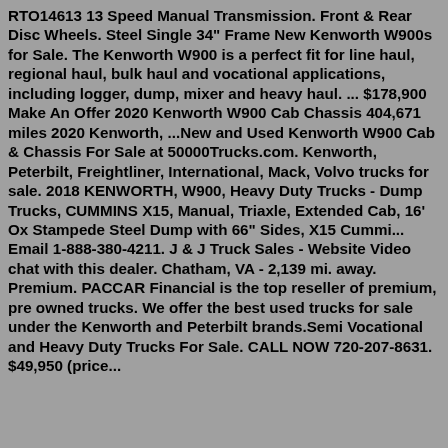RTO14613 13 Speed Manual Transmission. Front & Rear Disc Wheels. Steel Single 34" Frame New Kenworth W900s for Sale. The Kenworth W900 is a perfect fit for line haul, regional haul, bulk haul and vocational applications, including logger, dump, mixer and heavy haul. ... $178,900 Make An Offer 2020 Kenworth W900 Cab Chassis 404,671 miles 2020 Kenworth, ...New and Used Kenworth W900 Cab & Chassis For Sale at 50000Trucks.com. Kenworth, Peterbilt, Freightliner, International, Mack, Volvo trucks for sale. 2018 KENWORTH, W900, Heavy Duty Trucks - Dump Trucks, CUMMINS X15, Manual, Triaxle, Extended Cab, 16' Ox Stampede Steel Dump with 66" Sides, X15 Cummi... Email 1-888-380-4211. J & J Truck Sales - Website Video chat with this dealer. Chatham, VA - 2,139 mi. away. Premium. PACCAR Financial is the top reseller of premium, pre owned trucks. We offer the best used trucks for sale under the Kenworth and Peterbilt brands.Semi Vocational and Heavy Duty Trucks For Sale. CALL NOW 720-207-8631. $49,950 (price...